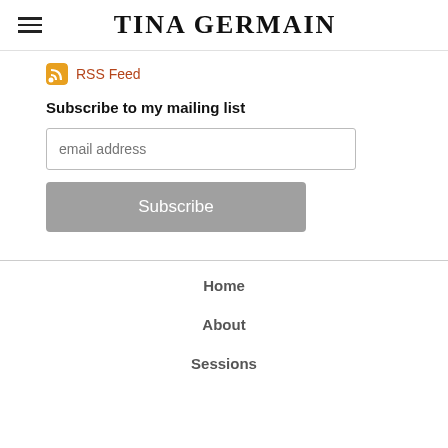TINA GERMAIN
RSS Feed
Subscribe to my mailing list
Home
About
Sessions